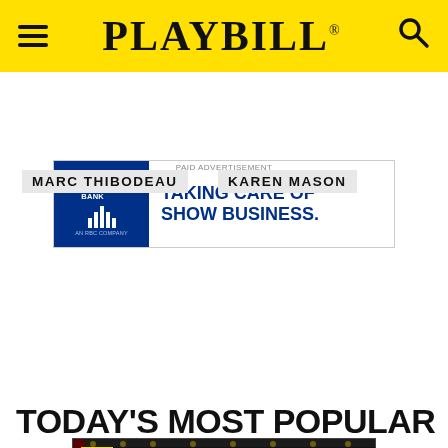PLAYBILL
[Figure (other): City National Bank advertisement with text TAKING CARE OF SHOW BUSINESS.]
PAID ADVERTISEMENT
MARC THIBODEAU
KAREN MASON
[Figure (screenshot): Video thumbnail showing performers on stage with a play button overlay and Playbill P badge]
TODAY'S MOST POPULAR